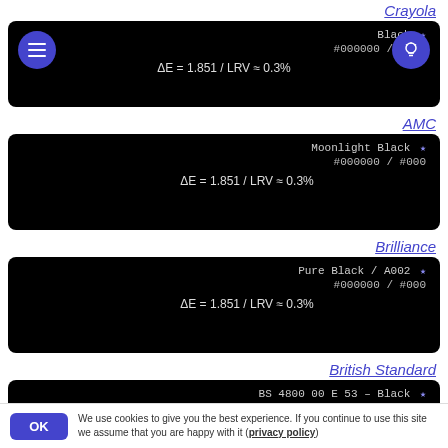Crayola
[Figure (screenshot): Black color card with menu button (hamburger) top-left and lightbulb button top-right. Shows Black color with #000000 / #000, ΔE = 1.851 / LRV ≈ 0.3%]
AMC
[Figure (screenshot): Black color card showing Moonlight Black, #000000 / #000, ΔE = 1.851 / LRV ≈ 0.3%]
Brilliance
[Figure (screenshot): Black color card showing Pure Black / A002, #000000 / #000, ΔE = 1.851 / LRV ≈ 0.3%]
British Standard
[Figure (screenshot): Black color card showing BS 4800 00 E 53 - Black, #000000 / #000, partial view]
We use cookies to give you the best experience. If you continue to use this site we assume that you are happy with it (privacy policy)